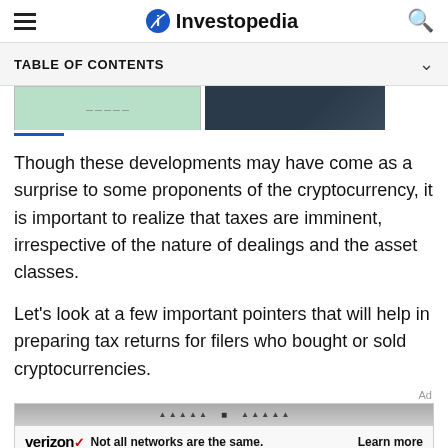Investopedia
TABLE OF CONTENTS
[Figure (photo): Two partially visible images: a green-tinted image on the left and a dark building/architecture photo on the right]
Though these developments may have come as a surprise to some proponents of the cryptocurrency, it is important to realize that taxes are imminent, irrespective of the nature of dealings and the asset classes.
Let's look at a few important pointers that will help in preparing tax returns for filers who bought or sold cryptocurrencies.
[Figure (photo): Verizon advertisement banner: 'Not all networks are the same. Learn more']